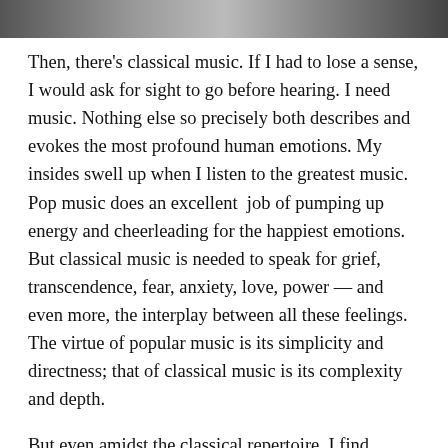[Figure (photo): Partial photograph visible at the top of the page, cropped — shows a dark image strip.]
Then, there's classical music. If I had to lose a sense, I would ask for sight to go before hearing. I need music. Nothing else so precisely both describes and evokes the most profound human emotions. My insides swell up when I listen to the greatest music. Pop music does an excellent  job of pumping up energy and cheerleading for the happiest emotions. But classical music is needed to speak for grief, transcendence, fear, anxiety, love, power — and even more, the interplay between all these feelings. The virtue of popular music is its simplicity and directness; that of classical music is its complexity and depth.
But even amidst the classical repertoire, I find myself drawn to the outskirts. Yes, I love my Beethoven and Brahms, but I also love my Schoenberg, my Morton